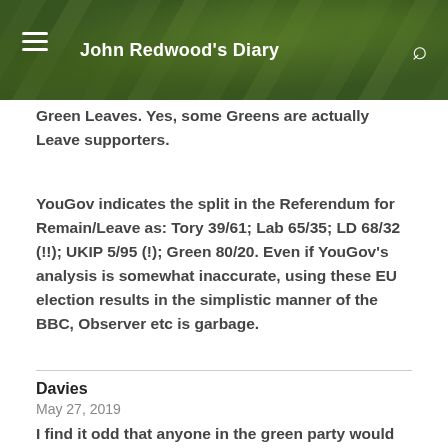John Redwood's Diary
Green Leaves. Yes, some Greens are actually Leave supporters.
YouGov indicates the split in the Referendum for Remain/Leave as: Tory 39/61; Lab 65/35; LD 68/32 (!!); UKIP 5/95 (!); Green 80/20. Even if YouGov’s analysis is somewhat inaccurate, using these EU election results in the simplistic manner of the BBC, Observer etc is garbage.
Davies
May 27, 2019
I find it odd that anyone in the green party would support the eu cap and c f p.